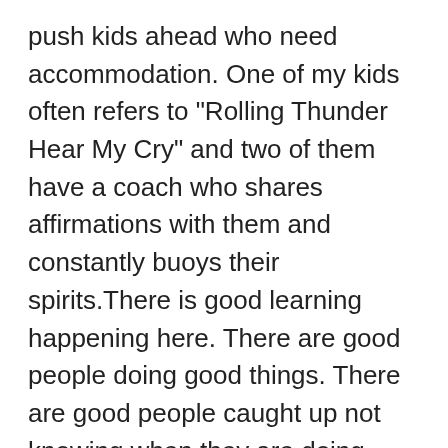push kids ahead who need accommodation. One of my kids often refers to "Rolling Thunder Hear My Cry" and two of them have a coach who shares affirmations with them and constantly buoys their spirits.There is good learning happening here. There are good people doing good things. There are good people caught up not knowing when they are doing harm and then doubling down on that harm.
Another teacher wrote a comment on my child's essay remarking that teachers will call into question his character based on his lack of proof reading/poor grammar. The essay was a first draft, typed. It was an unfamiliar format. He earned an F, but was told "he was so close" to meeting the standard. What new, impossibly low standard is this? I wonder how the instruction has